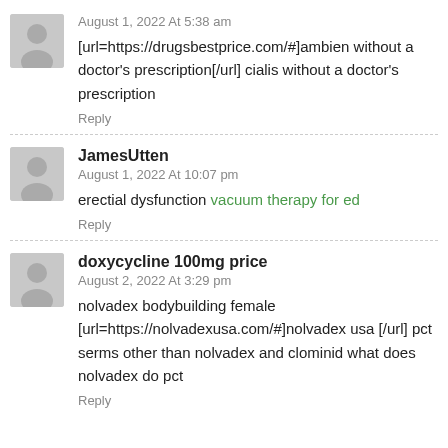August 1, 2022 At 5:38 am
[url=https://drugsbestprice.com/#]ambien without a doctor's prescription[/url] cialis without a doctor's prescription
Reply
JamesUtten
August 1, 2022 At 10:07 pm
erectial dysfunction vacuum therapy for ed
Reply
doxycycline 100mg price
August 2, 2022 At 3:29 pm
nolvadex bodybuilding female [url=https://nolvadexusa.com/#]nolvadex usa [/url] pct serms other than nolvadex and clominid what does nolvadex do pct
Reply